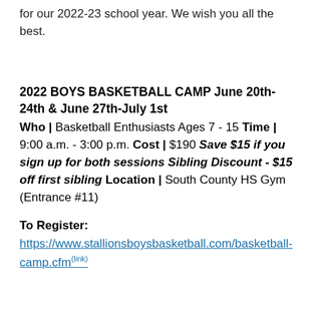for our 2022-23 school year.  We wish you all the best.
2022 BOYS BASKETBALL CAMP June 20th-24th & June 27th-July 1st
Who | Basketball Enthusiasts Ages 7 - 15 Time | 9:00 a.m. - 3:00 p.m. Cost | $190 Save $15 if you sign up for both sessions Sibling Discount - $15 off first sibling Location | South County HS Gym (Entrance #11)
To Register:
https://www.stallionsboysbasketball.com/basketball-camp.cfm